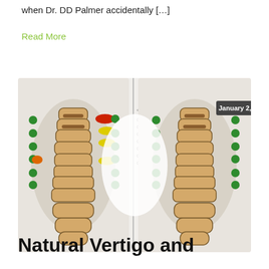when Dr. DD Palmer accidentally […]
Read More
[Figure (medical-diagram): Two side-by-side spinal thermal imaging scans showing vertebral alignment with colored dots indicating heat differentials. Left scan shows pre-treatment with red, orange, yellow, and green dots. Right scan labeled January 2, 2018 shows post-treatment with predominantly green dots. A legend in red, yellow, green shows 'Moderate C1-C2', 'Hot 1.1-2.5', and 'Normal 0-1.0' categories. Temperature values are listed between the scans.]
Natural Vertigo and